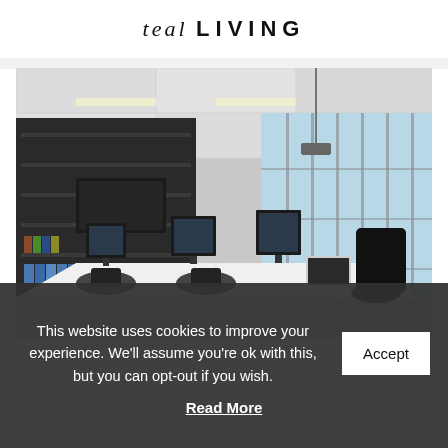teal LIVING
[Figure (photo): Modern open-plan office interior with dark shelving units, white desks, multiple monitors, ergonomic chairs, and floor-to-ceiling windows with city view.]
This website uses cookies to improve your experience. We'll assume you're ok with this, but you can opt-out if you wish.
Accept
Read More